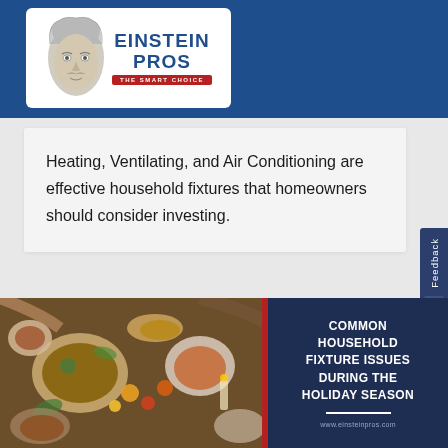[Figure (logo): Einstein Pros logo with illustrated Einstein face on left, company name 'EINSTEIN PROS' in blue text, red banner reading 'THE SMART CHOICE' below, all on white rounded rectangle background against blue header bar]
Heating, Ventilating, and Air Conditioning are effective household fixtures that homeowners should consider investing.
[Figure (photo): Overhead view of holiday feast table with multiple dishes, bowls of food, fruits, candles, and people's hands reaching across the table]
COMMON HOUSEHOLD FIXTURE ISSUES DURING THE HOLIDAY SEASON
www.einsteinpros.com